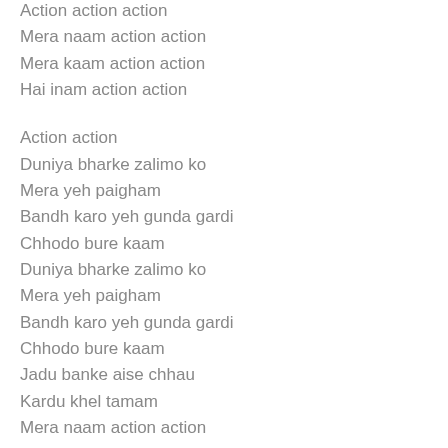Action action action
Mera naam action action
Mera kaam action action
Hai inam action action
Action action
Duniya bharke zalimo ko
Mera yeh paigham
Bandh karo yeh gunda gardi
Chhodo bure kaam
Duniya bharke zalimo ko
Mera yeh paigham
Bandh karo yeh gunda gardi
Chhodo bure kaam
Jadu banke aise chhau
Kardu khel tamam
Mera naam action action